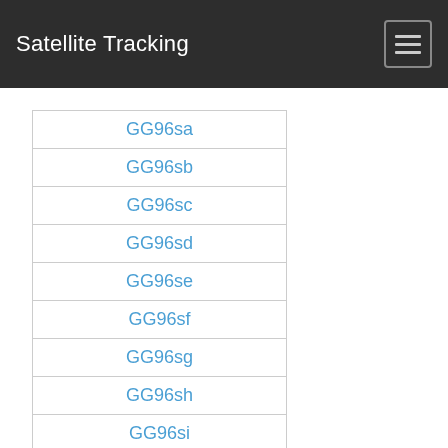Satellite Tracking
GG96sa
GG96sb
GG96sc
GG96sd
GG96se
GG96sf
GG96sg
GG96sh
GG96si
GG96sj
GG96sk
GG96sl
GG96sm
GG96sn
GG96so
GG96sp
GG96sq